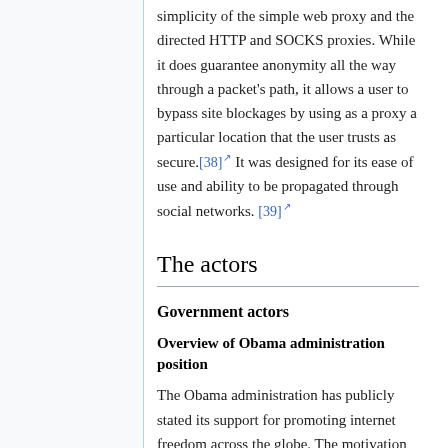simplicity of the simple web proxy and the directed HTTP and SOCKS proxies. While it does guarantee anonymity all the way through a packet's path, it allows a user to bypass site blockages by using as a proxy a particular location that the user trusts as secure.[38] It was designed for its ease of use and ability to be propagated through social networks.[39]
The actors
Government actors
Overview of Obama administration position
The Obama administration has publicly stated its support for promoting internet freedom across the globe. The motivation for promoting widespread